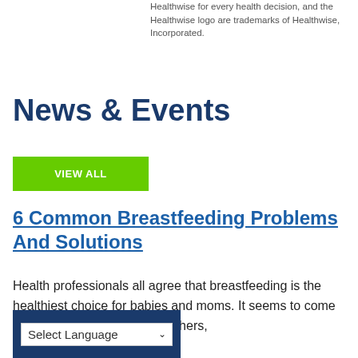Healthwise for every health decision, and the Healthwise logo are trademarks of Healthwise, Incorporated.
News & Events
VIEW ALL
6 Common Breastfeeding Problems And Solutions
Health professionals all agree that breastfeeding is the healthiest choice for babies and moms. It seems to come so naturally to many new mothers,
Select Language